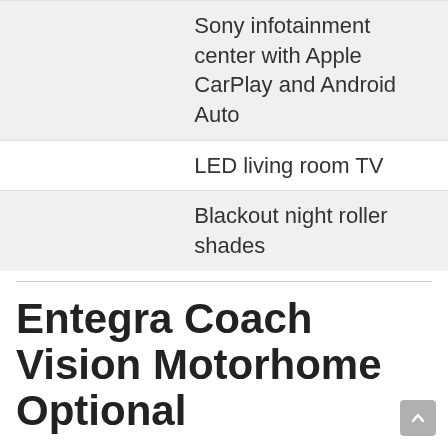Sony infotainment center with Apple CarPlay and Android Auto
LED living room TV
Blackout night roller shades
Entegra Coach Vision Motorhome Optional